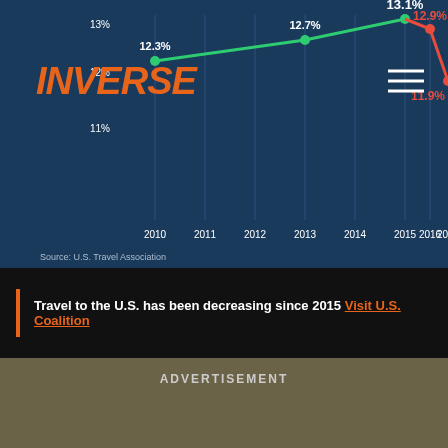[Figure (line-chart): International travel market share (U.S.)]
Source: U.S. Travel Association
Travel to the U.S. has been decreasing since 2015 Visit U.S. Coalition
ADVERTISEMENT